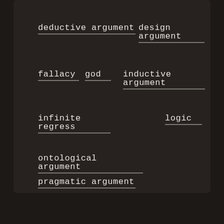deductive argument
design argument
fallacy
god
inductive argument
infinite regress
logic
ontological argument
pragmatic argument
reductio ad absurdum
straw man